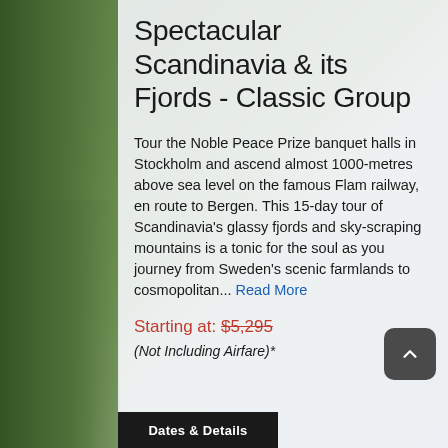[Figure (photo): Background photo of Scandinavian fjord landscape with green trees and mountains]
Spectacular Scandinavia & its Fjords - Classic Group
Tour the Noble Peace Prize banquet halls in Stockholm and ascend almost 1000-metres above sea level on the famous Flam railway, en route to Bergen. This 15-day tour of Scandinavia's glassy fjords and sky-scraping mountains is a tonic for the soul as you journey from Sweden's scenic farmlands to cosmopolitan... Read More
Starting at: $5,295
(Not Including Airfare)*